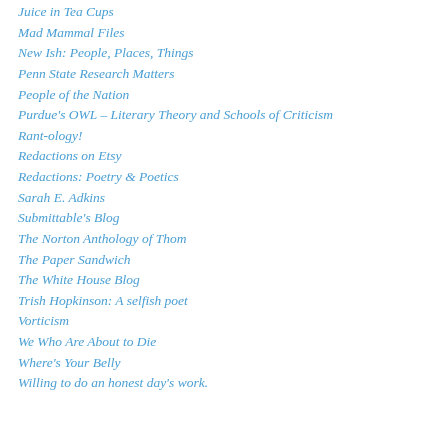Juice in Tea Cups
Mad Mammal Files
New Ish: People, Places, Things
Penn State Research Matters
People of the Nation
Purdue's OWL – Literary Theory and Schools of Criticism
Rant-ology!
Redactions on Etsy
Redactions: Poetry & Poetics
Sarah E. Adkins
Submittable's Blog
The Norton Anthology of Thom
The Paper Sandwich
The White House Blog
Trish Hopkinson: A selfish poet
Vorticism
We Who Are About to Die
Where's Your Belly
Willing to do an honest day's work.